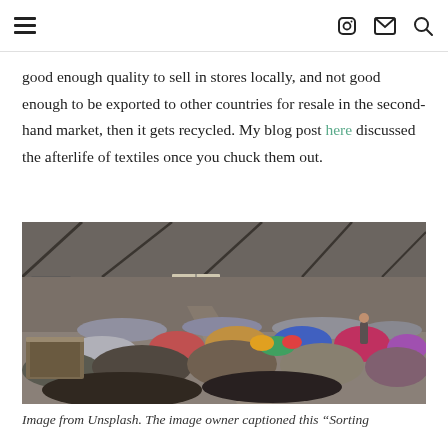≡  [instagram] [email] [search]
good enough quality to sell in stores locally, and not good enough to be exported to other countries for resale in the second-hand market, then it gets recycled. My blog post here discussed the afterlife of textiles once you chuck them out.
[Figure (photo): Interior of a large industrial warehouse with piles of sorted textile waste and clothing in various colors spread across the floor; a worker is visible in the background among bales of fabric.]
Image from Unsplash. The image owner captioned this "Sorting